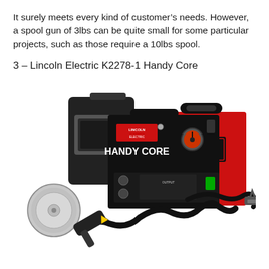It surely meets every kind of customer's needs. However, a spool gun of 3lbs can be quite small for some particular projects, such as those require a 10lbs spool.
3 – Lincoln Electric K2278-1 Handy Core
[Figure (photo): Photo of Lincoln Electric K2278-1 Handy Core flux-core wire feed welder (red and black box unit) with welding mask/helmet, spool of wire, welding gun with cable, and ground clamp with cable.]